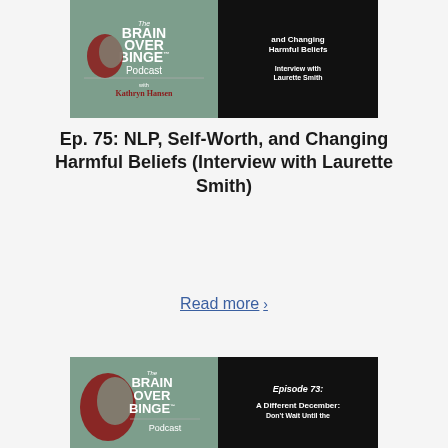[Figure (illustration): Brain Over Binge Podcast with Kathryn Hansen - Episode 75 thumbnail showing the podcast logo on left (sage green background with brain silhouette) and episode title on right (black background): 'and Changing Harmful Beliefs / Interview with Laurette Smith']
Ep. 75: NLP, Self-Worth, and Changing Harmful Beliefs (Interview with Laurette Smith)
Read more ›
[Figure (illustration): Brain Over Binge Podcast thumbnail for Episode 73 showing the podcast logo on left (sage green background with brain silhouette) and episode info on right (black background): 'Episode 73: A Different December: Don't Wait Until the...']